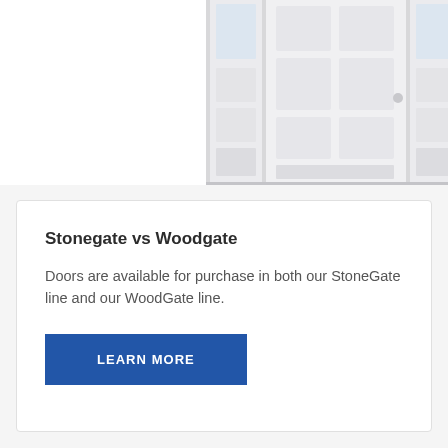[Figure (photo): White residential entry door with two sidelights, panel door design, shown in a product photo against a white background.]
Stonegate vs Woodgate
Doors are available for purchase in both our StoneGate line and our WoodGate line.
LEARN MORE